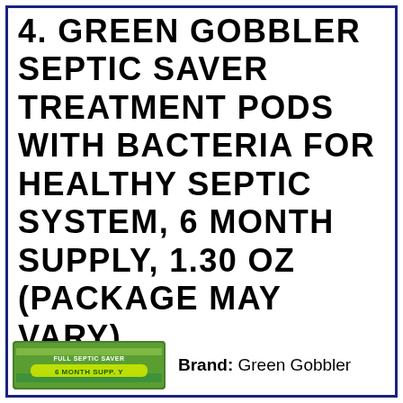4. GREEN GOBBLER SEPTIC SAVER TREATMENT PODS WITH BACTERIA FOR HEALTHY SEPTIC SYSTEM, 6 MONTH SUPPLY, 1.30 OZ (PACKAGE MAY VARY)
[Figure (photo): Product image of Green Gobbler 6 Month Supply septic treatment pods package, green box with yellow/green branding]
Brand: Green Gobbler